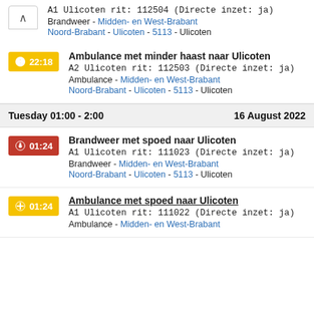A1 Ulicoten rit: 112504 (Directe inzet: ja)
Brandweer - Midden- en West-Brabant
Noord-Brabant - Ulicoten - 5113 - Ulicoten
22:18 Ambulance met minder haast naar Ulicoten
A2 Ulicoten rit: 112503 (Directe inzet: ja)
Ambulance - Midden- en West-Brabant
Noord-Brabant - Ulicoten - 5113 - Ulicoten
Tuesday 01:00 - 2:00   16 August 2022
01:24 Brandweer met spoed naar Ulicoten
A1 Ulicoten rit: 111023 (Directe inzet: ja)
Brandweer - Midden- en West-Brabant
Noord-Brabant - Ulicoten - 5113 - Ulicoten
01:24 Ambulance met spoed naar Ulicoten
A1 Ulicoten rit: 111022 (Directe inzet: ja)
Ambulance - Midden- en West-Brabant